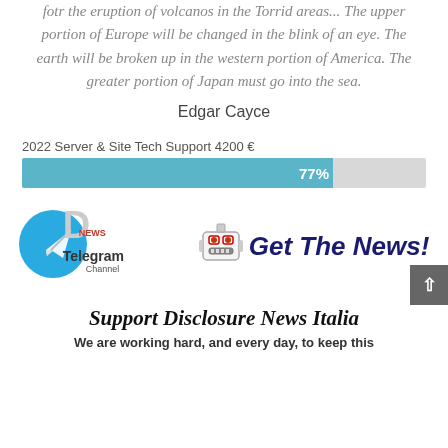fotr the eruption of volcanos in the Torrid areas... The upper portion of Europe will be changed in the blink of an eye. The earth will be broken up in the western portion of America. The greater portion of Japan must go into the sea.
Edgar Cayce
2022 Server & Site Tech Support 4200 €
[Figure (infographic): A horizontal progress bar showing 77% completion, filled with teal/blue color on the left and grey on the right, with '77%' label inside the filled portion.]
[Figure (logo): Disclosure News Italia Telegram Channel banner with Telegram logo, robot icon, and 'Get The News!' stylized text]
Support Disclosure News Italia
We are working hard, and every day, to keep this